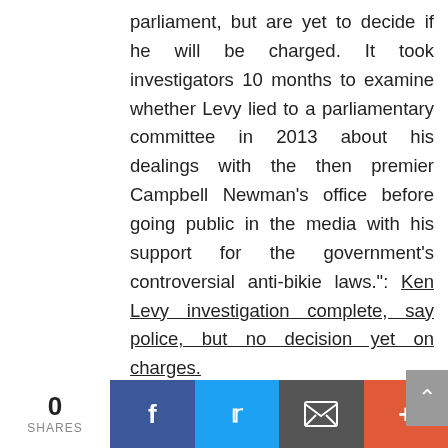parliament, but are yet to decide if he will be charged. It took investigators 10 months to examine whether Levy lied to a parliamentary committee in 2013 about his dealings with the then premier Campbell Newman's office before going public in the media with his support for the government's controversial anti-bikie laws.": Ken Levy investigation complete, say police, but no decision yet on charges.
Maria Hatzakis reports, "Independent MP Peter Wellington has condemned the duration of a police investigation into the acting head of Queensland's Crime and
0 SHARES | Facebook | Twitter | Email | +